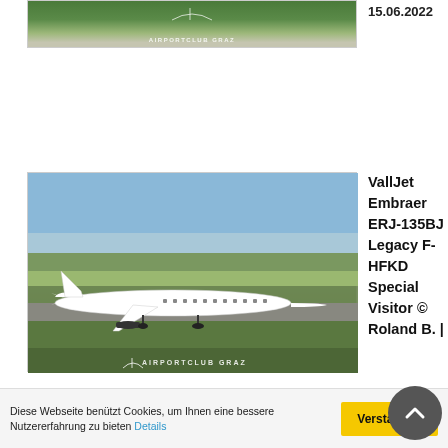[Figure (photo): Partial view of aircraft on airfield with 'Airportclub Graz' watermark, green grass background]
15.06.2022
[Figure (photo): VallJet Embraer ERJ-135BJ Legacy F-HFKD white business jet taxiing on runway, green grass, blue sky, Airportclub Graz watermark]
VallJet Embraer ERJ-135BJ Legacy F-HFKD Special Visitor © Roland B. |
17.06.2022